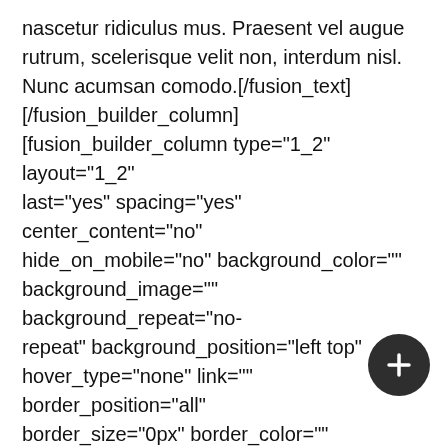nascetur ridiculus mus. Praesent vel augue rutrum, scelerisque velit non, interdum nisl. Nunc acumsan comodo.[/fusion_text][/fusion_builder_column][fusion_builder_column type="1_2" layout="1_2" last="yes" spacing="yes" center_content="no" hide_on_mobile="no" background_color="" background_image="" background_repeat="no-repeat" background_position="left top" hover_type="none" link="" border_position="all" border_size="0px" border_color="" border_style="" padding="" margin_top="" margin_bottom="" animation_type="" animation_direction="" animation_speed="0.1" animation_offset="" class="" id="" min_height=""][fusion_imageframe lightbox="yes" style_type="none" hover_type="zoomin" bordersize="0px" borderradius="0" align="none" linktarget="_self" animation_type="fade"
[Figure (other): Dark circular floating action button with a white plus (+) icon in the bottom-right area of the page.]